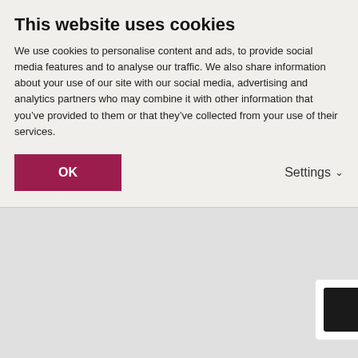This website uses cookies
We use cookies to personalise content and ads, to provide social media features and to analyse our traffic. We also share information about your use of our site with our social media, advertising and analytics partners who may combine it with other information that you've provided to them or that they've collected from your use of their services.
OK
Settings
[Figure (photo): Dark/black image partially visible at top right, behind cookie banner]
[Figure (photo): Viola hybrid flowers — purple, white and yellow pansy-like blooms in a dense cluster]
Viola hyb
First ever containers